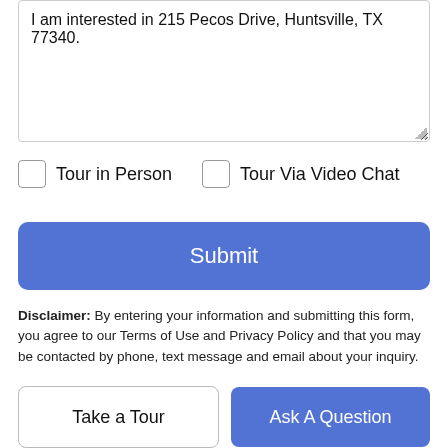I am interested in 215 Pecos Drive, Huntsville, TX 77340.
Tour in Person
Tour Via Video Chat
Submit
Disclaimer: By entering your information and submitting this form, you agree to our Terms of Use and Privacy Policy and that you may be contacted by phone, text message and email about your inquiry.
© 2022 Bryan-College Station Regional Multiple Listing Service. IDX information is provided exclusively for consumers' personal
Take a Tour
Ask A Question